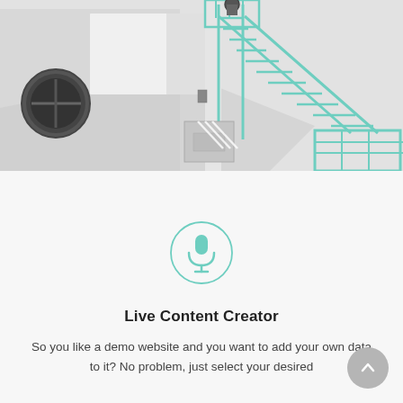[Figure (photo): Architectural photo of a white building exterior with mint/teal green metal fire escape stairs. The stairs form an L-shape going up to a rooftop. There is a large round dark industrial vent on the left wall and parking markings below the structure. The background is white/light grey.]
[Figure (illustration): A teal/mint green microphone icon centered inside a circular border outline, on a light grey background.]
Live Content Creator
So you like a demo website and you want to add your own data to it? No problem, just select your desired